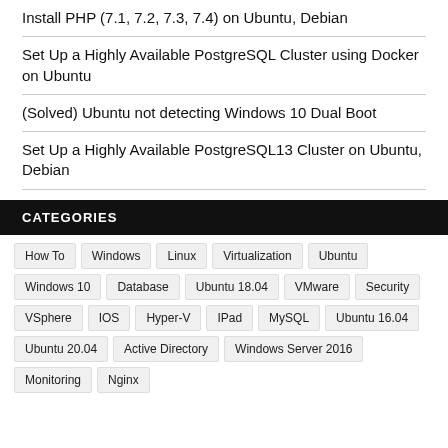Install PHP (7.1, 7.2, 7.3, 7.4) on Ubuntu, Debian
Set Up a Highly Available PostgreSQL Cluster using Docker on Ubuntu
(Solved) Ubuntu not detecting Windows 10 Dual Boot
Set Up a Highly Available PostgreSQL13 Cluster on Ubuntu, Debian
CATEGORIES
How To
Windows
Linux
Virtualization
Ubuntu
Windows 10
Database
Ubuntu 18.04
VMware
Security
VSphere
IOS
Hyper-V
IPad
MySQL
Ubuntu 16.04
Ubuntu 20.04
Active Directory
Windows Server 2016
Monitoring
Nginx